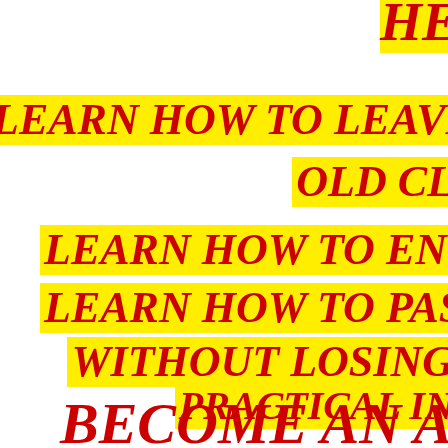HE[lp / HELP]
LEARN HOW TO LEAVE THE BO[DY /...]
OLD CL[UTTER /...]
LEARN HOW TO ENTER INT[O /...]
LEARN HOW TO PASS THRO[UGH /...]
WITHOUT LOSING[...]
PRACTICAL IN[STRUCTIONS /...]
BECOME AN ASC[ENDANT /...]